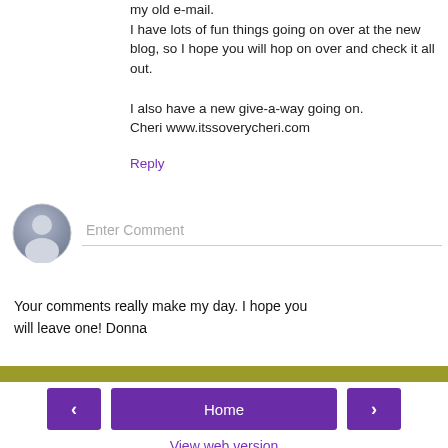my old e-mail.
I have lots of fun things going on over at the new blog, so I hope you will hop on over and check it all out.

I also have a new give-a-way going on.
Cheri www.itssoverycheri.com
Reply
[Figure (illustration): Gray user avatar circle icon]
Enter Comment
Your comments really make my day. I hope you will leave one! Donna
‹   Home   ›
View web version
About Me